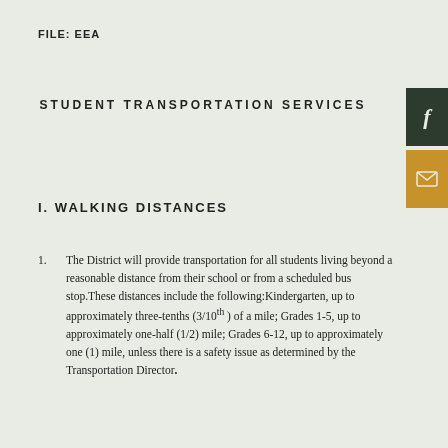FILE:  EEA
STUDENT TRANSPORTATION SERVICES
I. WALKING DISTANCES
The District will provide transportation for all students living beyond a reasonable distance from their school or from a scheduled bus stop. These distances include the following: Kindergarten, up to approximately three-tenths (3/10th) of a mile; Grades 1-5, up to approximately one-half (1/2) mile; Grades 6-12, up to approximately one (1) mile, unless there is a safety issue as determined by the Transportation Director.